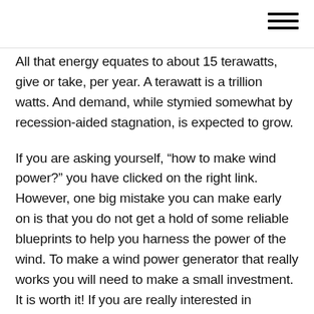All that energy equates to about 15 terawatts, give or take, per year. A terawatt is a trillion watts. And demand, while stymied somewhat by recession-aided stagnation, is expected to grow.
If you are asking yourself, “how to make wind power?” you have clicked on the right link. However, one big mistake you can make early on is that you do not get a hold of some reliable blueprints to help you harness the power of the wind. To make a wind power generator that really works you will need to make a small investment. It is worth it! If you are really interested in building your machine, pay for some good blueprints. They will cost you less in the long run because you won’t be led down wrong paths.
In short, the time is now. The federal government is on the verge of cracking down on the energy industry. In order to meet